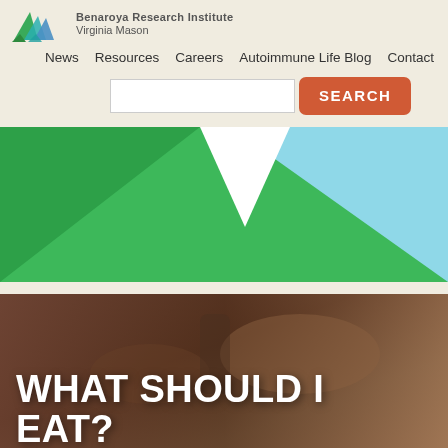[Figure (logo): Benaroya Research Institute at Virginia Mason logo with geometric triangles in green, teal, and blue]
News   Resources   Careers   Autoimmune Life Blog   Contact
[Figure (screenshot): Search input box with orange SEARCH button]
[Figure (illustration): Abstract geometric shapes in green and light blue forming a banner graphic]
[Figure (photo): Person holding food/utensils, dark warm tones, with overlay text WHAT SHOULD I EAT?]
WHAT SHOULD I EAT?